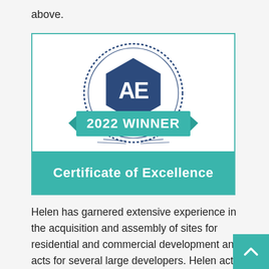above.
[Figure (logo): 2022 Winner Certificate of Excellence badge with AE hexagon logo, teal ribbon banner reading '2022 WINNER', teal bottom panel reading 'Certificate of Excellence']
Helen has garnered extensive experience in the acquisition and assembly of sites for residential and commercial development and acts for several large developers. Helen acts for the developer from the inception of its plans to